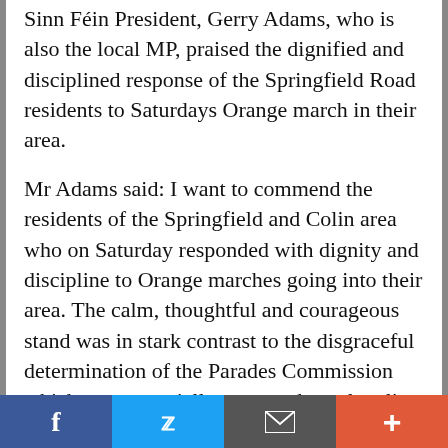Sinn Féin President, Gerry Adams, who is also the local MP, praised the dignified and disciplined response of the Springfield Road residents to Saturdays Orange march in their area.
Mr Adams said: I want to commend the residents of the Springfield and Colin area who on Saturday responded with dignity and discipline to Orange marches going into their area. The calm, thoughtful and courageous stand was in stark contrast to the disgraceful determination of the Parades Commission which was essentially a surrender to loyalist threats.
DERRY TENSION
A gate linking Derrys Fountain estate